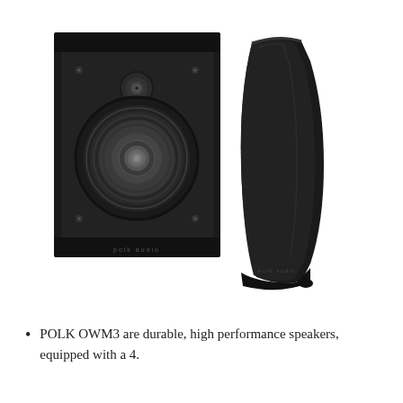[Figure (photo): Two Polk Audio OWM3 bookshelf speakers shown in black. The left speaker faces forward showing the front face with a circular woofer cone, tweeter, and mounting screw holes. The right speaker is angled to show the side profile with a curved black cabinet.]
POLK OWM3 are durable, high performance speakers, equipped with a 4.